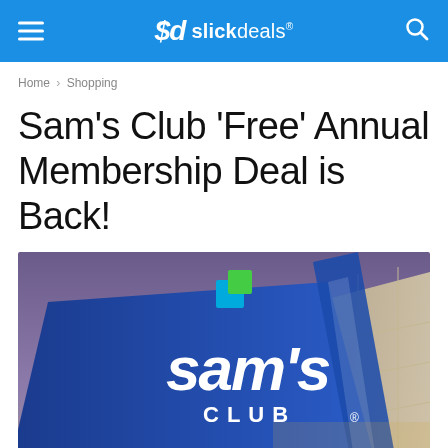$d slickdeals®
Home › Shopping
Sam's Club 'Free' Annual Membership Deal is Back!
[Figure (photo): Exterior photo of a Sam's Club store at dusk, showing the large blue sign with the Sam's® Club logo (blue and green stacked squares icon) illuminated against a purple sky]